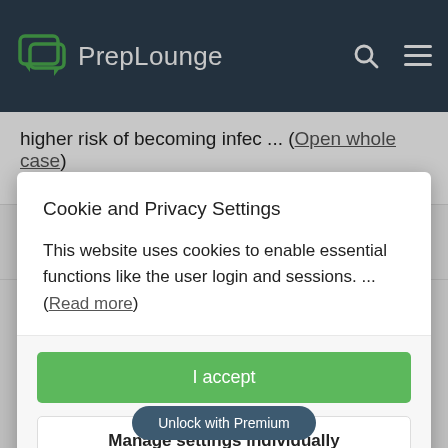PrepLounge
higher risk of becoming infec ... (Open whole case)
15.9k | Advanced
Cookie and Privacy Settings
This website uses cookies to enable essential functions like the user login and sessions. ... (Read more)
I accept
Manage settings individually
Unlock with Premium